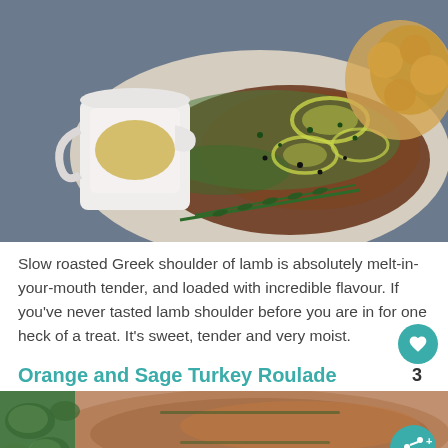[Figure (photo): Overhead shot of slow roasted Greek shoulder of lamb on parchment paper with lemon slices, fresh herbs (rosemary, thyme, parsley), and a small white ceramic pitcher of sauce on a dark baking tray.]
Slow roasted Greek shoulder of lamb is absolutely melt-in-your-mouth tender, and loaded with incredible flavour. If you've never tasted lamb shoulder before you are in for one heck of a treat. It's sweet, tender and very moist.
Orange and Sage Turkey Roulade
[Figure (photo): Partial view of Orange and Sage Turkey Roulade with sage leaves visible on the left side.]